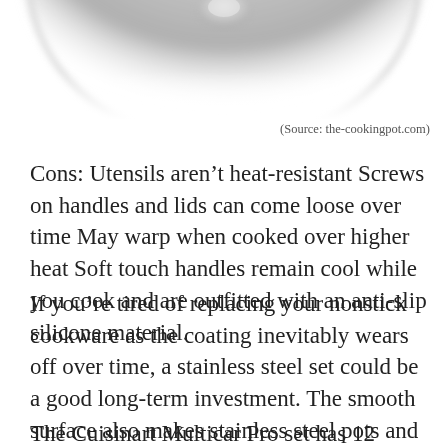[Figure (photo): Partial view of a pot or pan lid from above, showing a circular shape with a knob, fading at the bottom edge. Gray/silver tones.]
(Source: the-cookingpot.com)
Cons: Utensils aren’t heat-resistant Screws on handles and lids can come loose over time May warp when cooked over higher heat Soft touch handles remain cool while you cook and are outfitted with an anti-slip silicone material.
If you’re tired of replacing your nonstick cookware as the coating inevitably wears off over time, a stainless steel set could be a good long-term investment. The smooth surface also makes stainless steel pots and pans easy to clean.
The Cuisinart Multicar Pro set has 12 pieces to cover pots and pans you might need for everyday